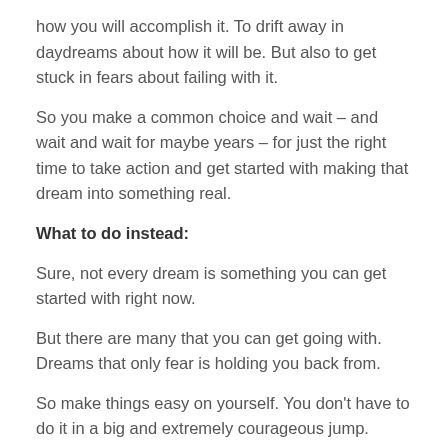how you will accomplish it. To drift away in daydreams about how it will be. But also to get stuck in fears about failing with it.
So you make a common choice and wait – and wait and wait for maybe years – for just the right time to take action and get started with making that dream into something real.
What to do instead:
Sure, not every dream is something you can get started with right now.
But there are many that you can get going with. Dreams that only fear is holding you back from.
So make things easy on yourself. You don't have to do it in a big and extremely courageous jump.
If that was the case then only the bravest people in the world would do and achieve what they want.